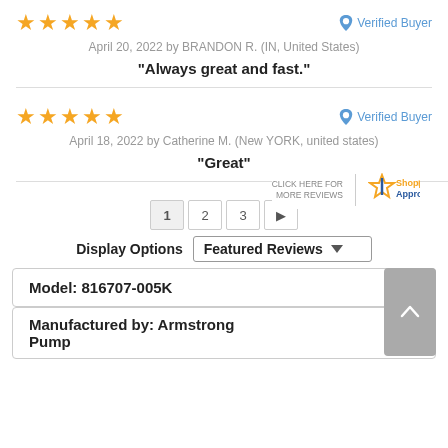[Figure (other): 5 orange stars rating]
Verified Buyer
April 20, 2022 by BRANDON R. (IN, United States)
"Always great and fast."
[Figure (other): 5 orange stars rating]
Verified Buyer
April 18, 2022 by Catherine M. (New YORK, united states)
"Great"
[Figure (logo): Shopper Approved logo with CLICK HERE FOR MORE REVIEWS text]
1  2  3  ▶
Display Options   Featured Reviews
Model: 816707-005K
Manufactured by: Armstrong Pump